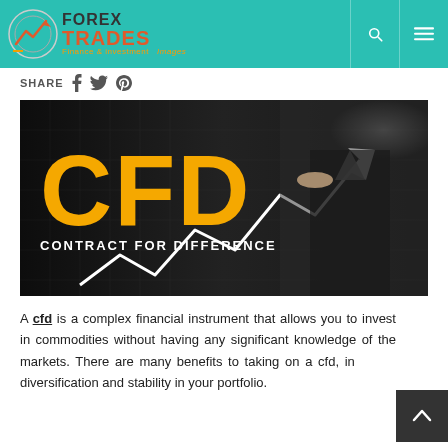FOREX TRADES Finance & investment
SHARE
[Figure (photo): CFD Contract for Difference image showing large yellow CFD text, 'CONTRACT FOR DIFFERENCE' subtitle, rising arrow chart, and a businessman pointing at the chart against a city skyline background]
A cfd is a complex financial instrument that allows you to invest in commodities without having any significant knowledge of the markets. There are many benefits to taking on a cfd, including diversification and stability in your portfolio.